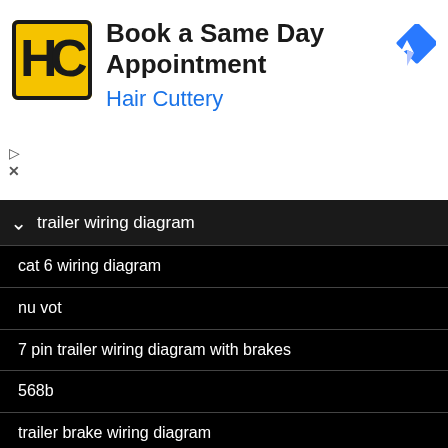[Figure (screenshot): Hair Cuttery advertisement banner with logo and 'Book a Same Day Appointment' text]
trailer wiring diagram
cat 6 wiring diagram
nu vot
7 pin trailer wiring diagram with brakes
568b
trailer brake wiring diagram
4 flat trailer wiring diagram
7 pin trailer plug wiring diagram
outside telephone box wiring
club car wiring diagram 48v